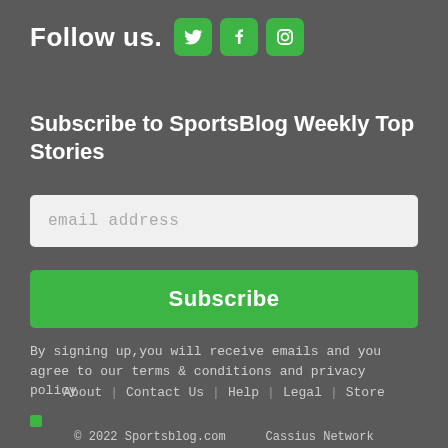Follow us.
[Figure (other): Three social media icons in green rounded squares: Twitter bird icon, Facebook 'f' icon, Instagram camera icon]
Subscribe to SportsBlog Weekly Top Stories
email address
Subscribe
By signing up,you will receive emails and you agree to our terms & conditions and privacy policy
About | Contact Us | Help | Legal | Store
© 2022 Sportsblog.com    Cassius Network